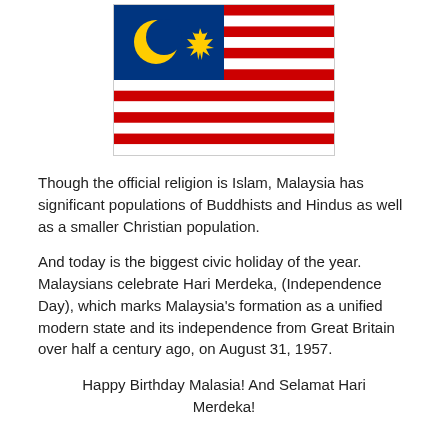[Figure (illustration): Malaysian flag (Jalur Gemilang): 14 alternating red and white horizontal stripes, blue canton in upper-left with yellow crescent moon and 14-pointed star.]
Though the official religion is Islam, Malaysia has significant populations of Buddhists and Hindus as well as a smaller Christian population.
And today is the biggest civic holiday of the year. Malaysians celebrate Hari Merdeka, (Independence Day), which marks Malaysia's formation as a unified modern state and its independence from Great Britain over half a century ago, on August 31, 1957.
Happy Birthday Malasia! And Selamat Hari Merdeka!